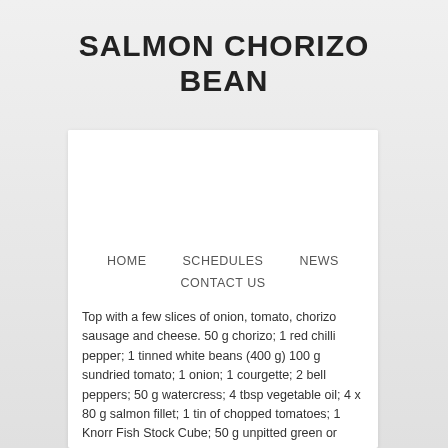SALMON CHORIZO BEAN
[Figure (photo): White rectangular image placeholder area at top of card]
HOME   SCHEDULES   NEWS   CONTACT US
Top with a few slices of onion, tomato, chorizo sausage and cheese. 50 g chorizo; 1 red chilli pepper; 1 tinned white beans (400 g) 100 g sundried tomato; 1 onion; 1 courgette; 2 bell peppers; 50 g watercress; 4 tbsp vegetable oil; 4 x 80 g salmon fillet; 1 tin of chopped tomatoes; 1 Knorr Fish Stock Cube; 50 g unpitted green or black olives; salt and pepper; quinoa (serving tip) Heat a medium nonstick skillet over medium heat. Heat the grill to hot. It'll take about 15 mins in a 180 oven. Heat a grill pan over medium-high heat. your own Pins on Pinterest Scatter the sliced chorizo and chunks of roasted pepper over. Keep warm. To serve, divide